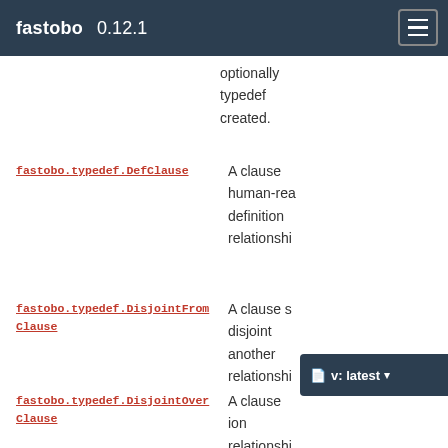fastobo 0.12.1
optionally typedef created.
fastobo.typedef.DefClause
A clause human-readable definition relationship
fastobo.typedef.DisjointFromClause
A clause s disjoint another relationship
fastobo.typedef.DisjointOverClause
A clause ion relationship disjoint ove